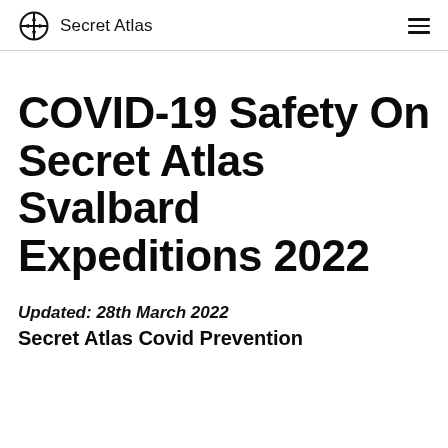Secret Atlas
COVID-19 Safety On Secret Atlas Svalbard Expeditions 2022
Updated: 28th March 2022
Secret Atlas Covid Prevention